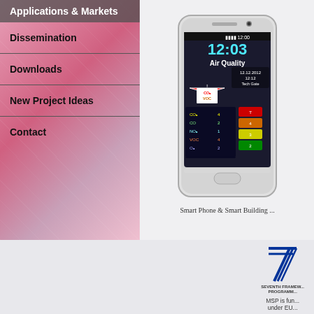Applications & Markets
Dissemination
Downloads
New Project Ideas
Contact
[Figure (photo): Samsung Galaxy S3 smartphone displaying an Air Quality app showing sensor readings for CO2, CO, NO2, VOC, O3 with colored indicators, date 12.12.2012, location TechGate Room 2.12]
Smart Phone & Smart Building ...
[Figure (logo): EU Seventh Framework Programme logo with blue number 7]
MSP is fun
under EU